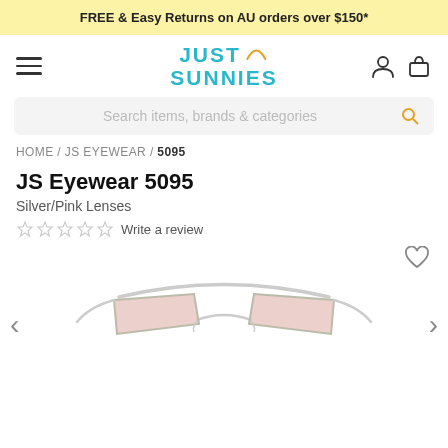FREE & Easy Returns on AU orders over $150*
[Figure (logo): Just Sunnies logo with teal text and orange arc]
Search items, brands & categories
HOME / JS EYEWEAR / 5095
JS Eyewear 5095
Silver/Pink Lenses
☆ ☆ ☆ ☆ ☆ Write a review
[Figure (photo): Silver/pink lens aviator-style sunglasses (JS Eyewear 5095) shown from the front, with pink mirrored trapezoidal lenses and a silver metal frame with brow bar]